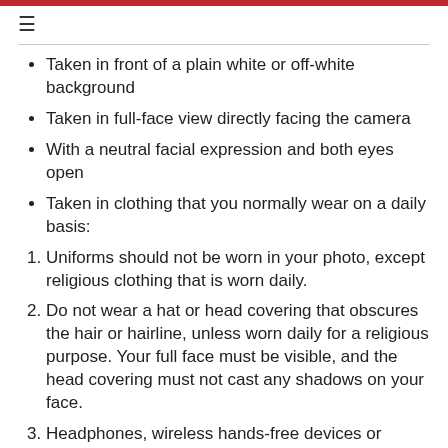Taken in front of a plain white or off-white background
Taken in full-face view directly facing the camera
With a neutral facial expression and both eyes open
Taken in clothing that you normally wear on a daily basis:
Uniforms should not be worn in your photo, except religious clothing that is worn daily.
Do not wear a hat or head covering that obscures the hair or hairline, unless worn daily for a religious purpose. Your full face must be visible, and the head covering must not cast any shadows on your face.
Headphones, wireless hands-free devices or similar items are not acceptable in your photo.
If you normally wear prescription glasses, a hearing